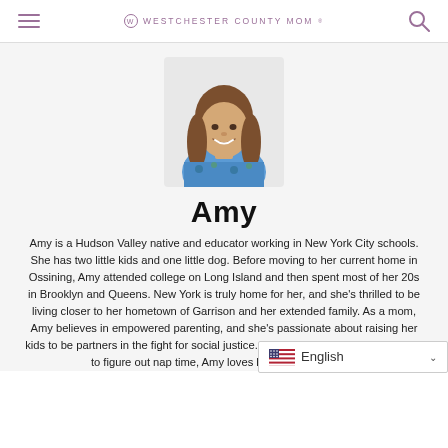WESTCHESTER COUNTY MOM
[Figure (photo): Profile photo of Amy, a woman with long brown hair wearing a blue floral top, smiling at the camera]
Amy
Amy is a Hudson Valley native and educator working in New York City schools. She has two little kids and one little dog. Before moving to her current home in Ossining, Amy attended college on Long Island and then spent most of her 20s in Brooklyn and Queens. New York is truly home for her, and she's thrilled to be living closer to her hometown of Garrison and her extended family. As a mom, Amy believes in empowered parenting, and she's passionate about raising her kids to be partners in the fight for social justice. When she's not working or trying to figure out nap time, Amy loves hiking, yoga, swimm...